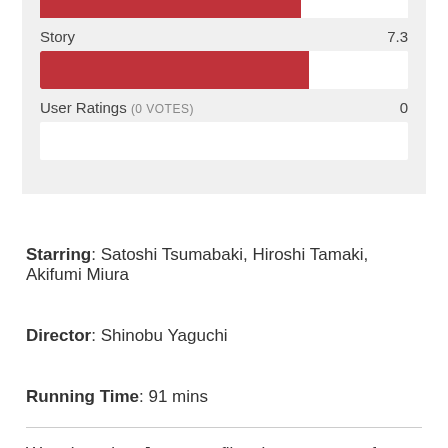[Figure (bar-chart): Ratings]
Starring: Satoshi Tsumabaki, Hiroshi Tamaki, Akifumi Miura
Director: Shinobu Yaguchi
Running Time: 91 mins
Waterboys is a Japanese film about a group of teenage boys